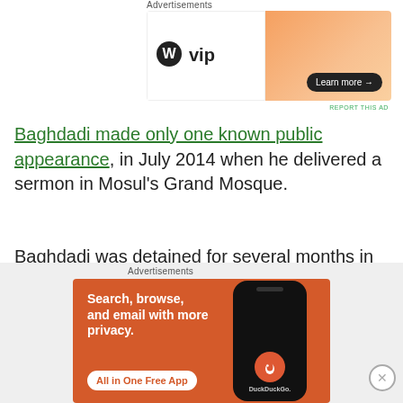[Figure (screenshot): WordPress VIP advertisement banner with orange gradient and Learn more button]
REPORT THIS AD
Baghdadi made only one known public appearance, in July 2014 when he delivered a sermon in Mosul's Grand Mosque.
Baghdadi was detained for several months in Camp Bucca, which was a US-run prison in southern Iraq. He was released in 2004.
He killed himself after being cornered by US forces who conducted a daring, two-hour nighttime raid on his
[Figure (screenshot): DuckDuckGo advertisement: Search, browse, and email with more privacy. All in One Free App.]